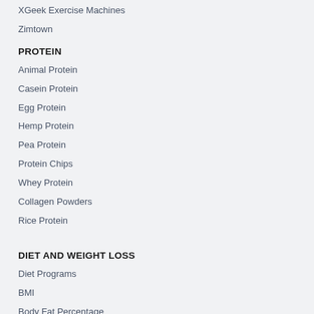XGeek Exercise Machines
Zimtown
PROTEIN
Animal Protein
Casein Protein
Egg Protein
Hemp Protein
Pea Protein
Protein Chips
Whey Protein
Collagen Powders
Rice Protein
DIET AND WEIGHT LOSS
Diet Programs
BMI
Body Fat Percentage
Body Fat Scales
Fat Burners
Low calorie protein
Noom Diet
Smart Scales